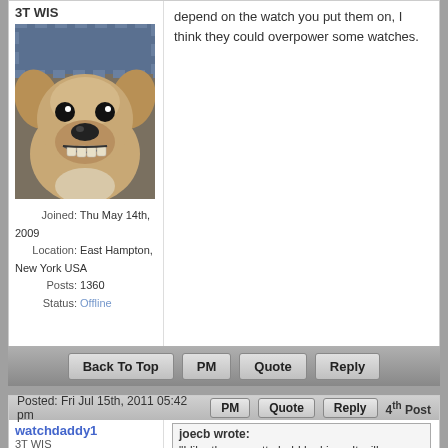3T WIS
[Figure (photo): A dog with a wide grin showing its teeth, close-up photo]
Joined: Thu May 14th, 2009
Location: East Hampton, New York USA
Posts: 1360
Status: Offline
depend on the watch you put them on, I think they could overpower some watches.
Back To Top  PM  Quote  Reply
Posted: Fri Jul 15th, 2011 05:42 pm  PM  Quote  Reply  4th Post
watchdaddy1
3T WIS
joecb wrote: "I like them, pretty bold looking...It will